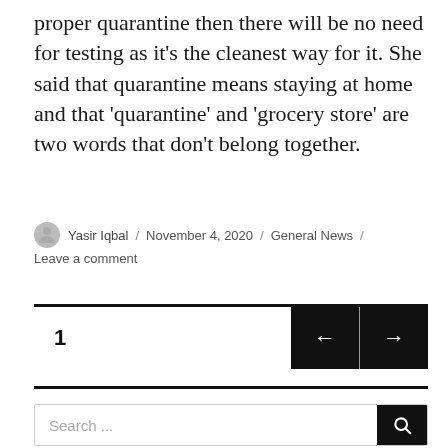proper quarantine then there will be no need for testing as it's the cleanest way for it. She said that quarantine means staying at home and that 'quarantine' and 'grocery store' are two words that don't belong together.
Yasir Iqbal / November 4, 2020 / General News / Leave a comment
1
Search ...